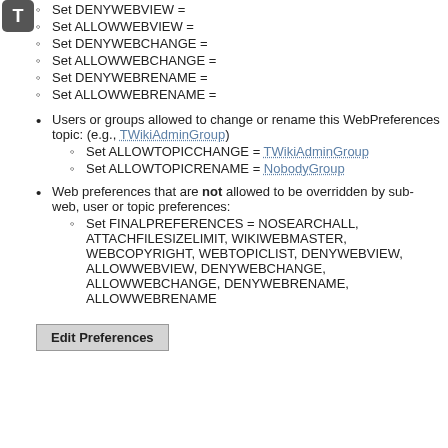Set DENYWEBVIEW =
Set ALLOWWEBVIEW =
Set DENYWEBCHANGE =
Set ALLOWWEBCHANGE =
Set DENYWEBRENAME =
Set ALLOWWEBRENAME =
Users or groups allowed to change or rename this WebPreferences topic: (e.g., TWikiAdminGroup)
Set ALLOWTOPICCHANGE = TWikiAdminGroup
Set ALLOWTOPICRENAME = NobodyGroup
Web preferences that are not allowed to be overridden by sub-web, user or topic preferences:
Set FINALPREFERENCES = NOSEARCHALL, ATTACHFILESIZELIMIT, WIKIWEBMASTER, WEBCOPYRIGHT, WEBTOPICLIST, DENYWEBVIEW, ALLOWWEBVIEW, DENYWEBCHANGE, ALLOWWEBCHANGE, DENYWEBRENAME, ALLOWWEBRENAME
Edit Preferences